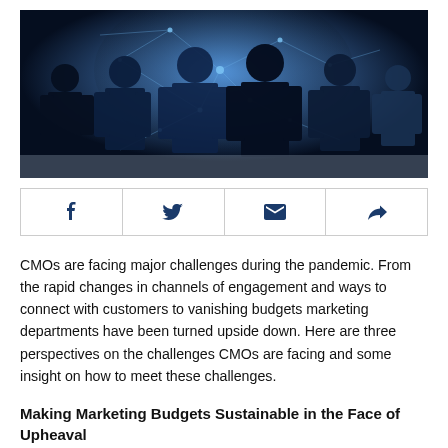[Figure (photo): Silhouettes of business people walking with digital network overlay in blue tones]
[Figure (infographic): Social sharing buttons: Facebook, Twitter, Email, Share/Forward]
CMOs are facing major challenges during the pandemic. From the rapid changes in channels of engagement and ways to connect with customers to vanishing budgets marketing departments have been turned upside down. Here are three perspectives on the challenges CMOs are facing and some insight on how to meet these challenges.
Making Marketing Budgets Sustainable in the Face of Upheaval
Gartner's Ewan McIntyre is on the frontlines of